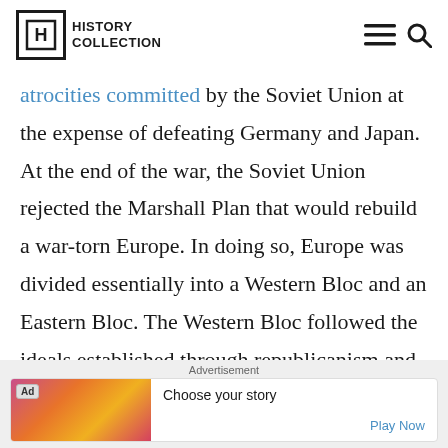History Collection
atrocities committed by the Soviet Union at the expense of defeating Germany and Japan. At the end of the war, the Soviet Union rejected the Marshall Plan that would rebuild a war-torn Europe. In doing so, Europe was divided essentially into a Western Bloc and an Eastern Bloc. The Western Bloc followed the ideals established through republicanism and liberty,
Advertisement
Ad — Choose your story — Play Now